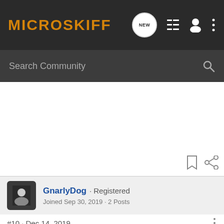MICROSKIFF
Search Community
GnarlyDog · Registered
Joined Sep 30, 2019 · 2 Posts
#10 · Dec 14, 2019
Did this ever sell? If not, please PM contact info.
[Figure (photo): Advertisement banner for Advanced Elements inflatable kayaks showing an orange kayak. Text reads: The evolution of inflatable kayaks. ADVANCED ELEMENTS logo visible.]